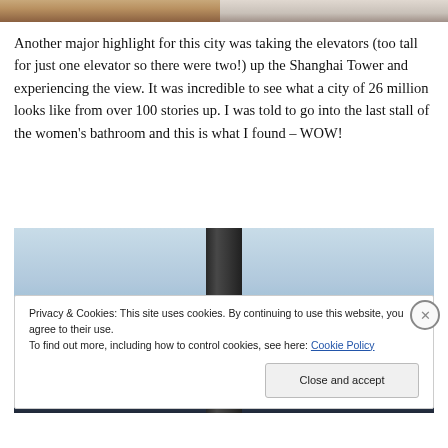[Figure (photo): Two cropped photos at top: left shows a person with equipment (brown tones), right shows a rounded bowl or dish (light grey/white tones)]
Another major highlight for this city was taking the elevators (too tall for just one elevator so there were two!) up the Shanghai Tower and experiencing the view. It was incredible to see what a city of 26 million looks like from over 100 stories up. I was told to go into the last stall of the women's bathroom and this is what I found – WOW!
[Figure (photo): Partial photo of view from Shanghai Tower, showing sky and a dark pillar/structure in the center]
Privacy & Cookies: This site uses cookies. By continuing to use this website, you agree to their use.
To find out more, including how to control cookies, see here: Cookie Policy
Close and accept